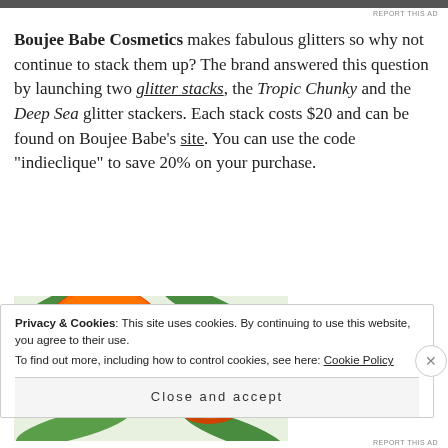Boujee Babe Cosmetics makes fabulous glitters so why not continue to stack them up? The brand answered this question by launching two glitter stacks, the Tropic Chunky and the Deep Sea glitter stackers. Each stack costs $20 and can be found on Boujee Babe's site. You can use the code “indieclique” to save 20% on your purchase.
[Figure (photo): Close-up photo of orange glitter cosmetic products in small open containers on a tropical leaf-print background]
Privacy & Cookies: This site uses cookies. By continuing to use this website, you agree to their use.
To find out more, including how to control cookies, see here: Cookie Policy
Close and accept